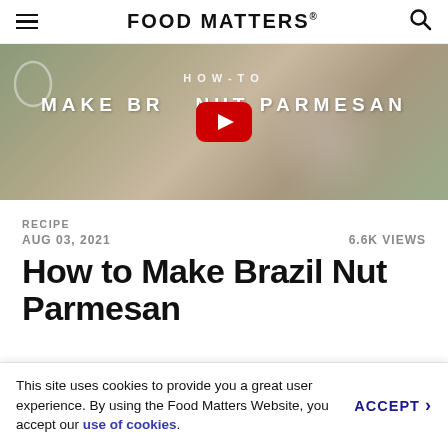FOOD MATTERS®
[Figure (screenshot): YouTube video thumbnail showing 'How to Make Brazil Nut Parmesan' with a large red YouTube play button overlaid on a blurred kitchen scene]
RECIPE
AUG 03, 2021   6.6K VIEWS
How to Make Brazil Nut Parmesan
This site uses cookies to provide you a great user experience. By using the Food Matters Website, you accept our use of cookies.